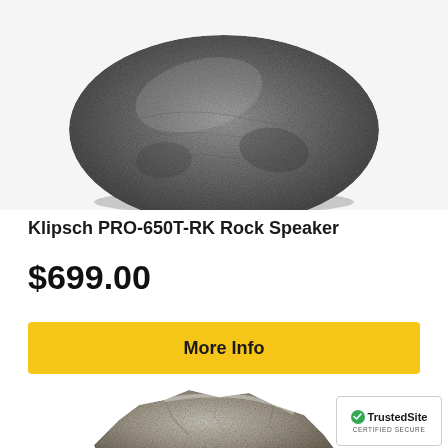[Figure (photo): Klipsch PRO-650T-RK rock-shaped outdoor speaker in dark granite gray, viewed from above/front, on white/light gray background]
Klipsch PRO-650T-RK Rock Speaker
$699.00
More Info
[Figure (photo): Rock-shaped outdoor speaker in light gray/tan stone color, partially visible at bottom of page]
TrustedSite CERTIFIED SECURE